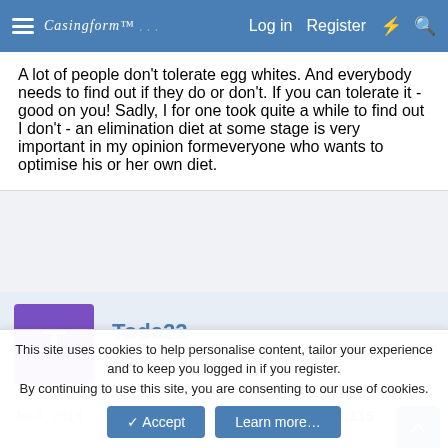Casingform™ ... Log in Register ⚡ 🔍
A lot of people don't tolerate egg whites. And everybody needs to find out if they do or don't. If you can tolerate it - good on you! Sadly, I for one took quite a while to find out I don't - an elimination diet at some stage is very important in my opinion formeveryone who wants to optimise his or her own diet.
Toda22
The Force is Strong With This One
Jul 4, 2014    #3,115
This site uses cookies to help personalise content, tailor your experience and to keep you logged in if you register.
By continuing to use this site, you are consenting to our use of cookies.
✓ Accept   Learn more…